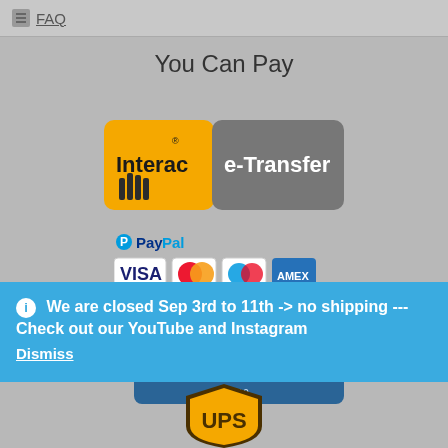FAQ
You Can Pay
[Figure (logo): Interac e-Transfer logo: yellow square with Interac wordmark and hand icon, grey rectangle with e-Transfer text]
[Figure (logo): PayPal logo with VISA, MasterCard, Maestro, American Express card icons]
[Figure (illustration): Two overlapping blue credit cards showing chip, card number 3145 8752 6581 5813, expiry 05/19, and 'credit card' label]
We are closed Sep 3rd to 11th -> no shipping --- Check out our YouTube and Instagram
Dismiss
[Figure (logo): UPS shield logo: gold/brown shield with UPS lettering]